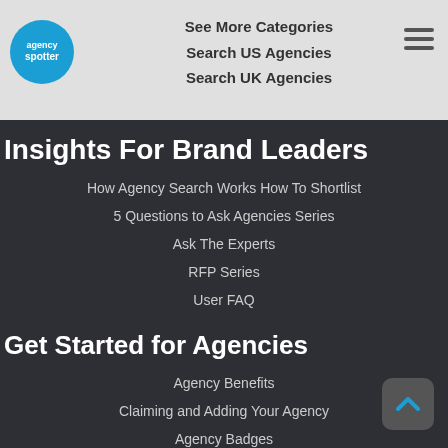See More Categories | Search US Agencies | Search UK Agencies
Insights For Brand Leaders
How Agency Search Works How To Shortlist
5 Questions to Ask Agencies Series
Ask The Experts
RFP Series
User FAQ
Get Started for Agencies
Agency Benefits
Claiming and Adding Your Agency
Agency Badges
Agency FAQ
Still Have Questions?